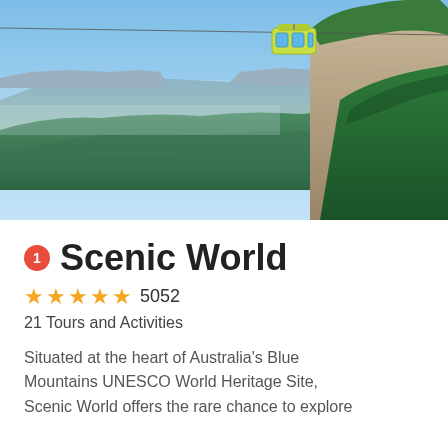[Figure (photo): Aerial view of the Blue Mountains in Australia with a cable car visible in the upper portion of the image, showing lush green valleys and sandstone cliff formations under a blue sky.]
Scenic World
★★★★★ 5052
21 Tours and Activities
Situated at the heart of Australia's Blue Mountains UNESCO World Heritage Site, Scenic World offers the rare chance to explore